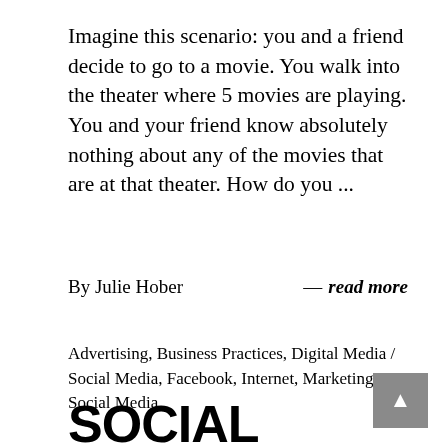Imagine this scenario: you and a friend decide to go to a movie. You walk into the theater where 5 movies are playing. You and your friend know absolutely nothing about any of the movies that are at that theater. How do you ...
By Julie Hober — read more
Advertising, Business Practices, Digital Media / Social Media, Facebook, Internet, Marketing, Social Media
SOCIAL MEDIA